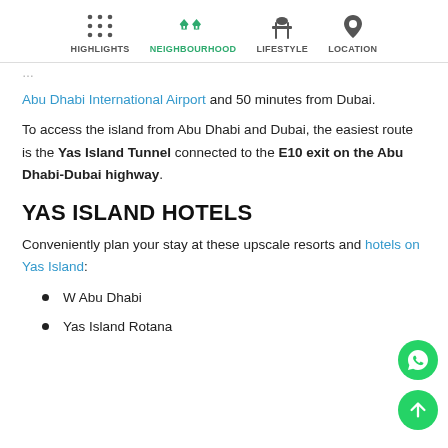HIGHLIGHTS | NEIGHBOURHOOD | LIFESTYLE | LOCATION
Abu Dhabi International Airport and 50 minutes from Dubai. To access the island from Abu Dhabi and Dubai, the easiest route is the Yas Island Tunnel connected to the E10 exit on the Abu Dhabi-Dubai highway.
YAS ISLAND HOTELS
Conveniently plan your stay at these upscale resorts and hotels on Yas Island:
W Abu Dhabi
Yas Island Rotana